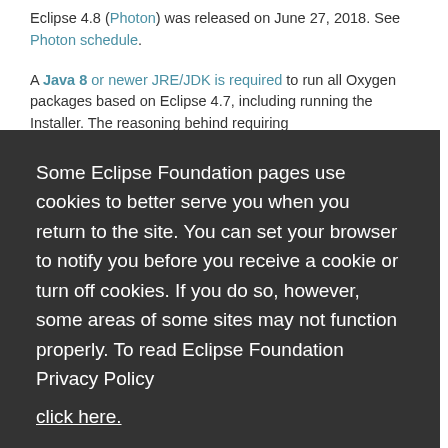Eclipse 4.8 (Photon) was released on June 27, 2018. See Photon schedule.
A Java 8 or newer JRE/JDK is required to run all Oxygen packages based on Eclipse 4.7, including running the Installer. The reasoning behind requiring...
Some Eclipse Foundation pages use cookies to better serve you when you return to the site. You can set your browser to notify you before you receive a cookie or turn off cookies. If you do so, however, some areas of some sites may not function properly. To read Eclipse Foundation Privacy Policy
click here.
Decline
Allow cookies
See Noon schedule.